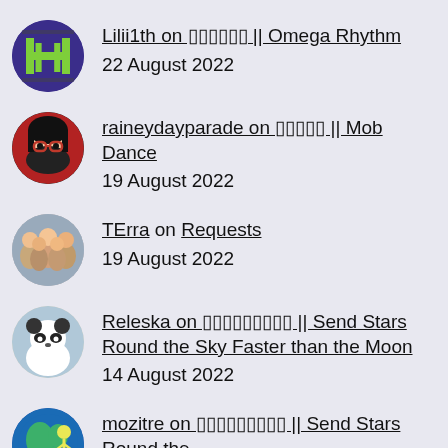Lilii1th on □□□□□□ || Omega Rhythm
22 August 2022
raineydayparade on □□□□□ || Mob Dance
19 August 2022
TErra on Requests
19 August 2022
Releska on □□□□□□□□□ || Send Stars Round the Sky Faster than the Moon
14 August 2022
mozitre on □□□□□□□□□ || Send Stars Round the